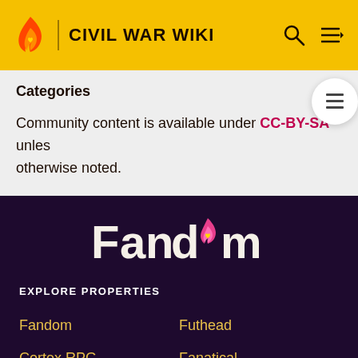CIVIL WAR WIKI
Categories
Community content is available under CC-BY-SA unless otherwise noted.
[Figure (logo): Fandom logo with flame and heart icon, white text on dark purple background]
EXPLORE PROPERTIES
Fandom
Futhead
Cortex RPG
Fanatical
Muthead